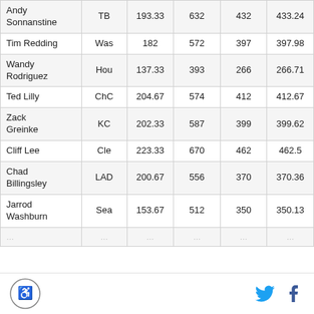| Andy Sonnanstine | TB | 193.33 | 632 | 432 | 433.24 |
| Tim Redding | Was | 182 | 572 | 397 | 397.98 |
| Wandy Rodriguez | Hou | 137.33 | 393 | 266 | 266.71 |
| Ted Lilly | ChC | 204.67 | 574 | 412 | 412.67 |
| Zack Greinke | KC | 202.33 | 587 | 399 | 399.62 |
| Cliff Lee | Cle | 223.33 | 670 | 462 | 462.5 |
| Chad Billingsley | LAD | 200.67 | 556 | 370 | 370.36 |
| Jarrod Washburn | Sea | 153.67 | 512 | 350 | 350.13 |
| … | … | … | … | … | … |